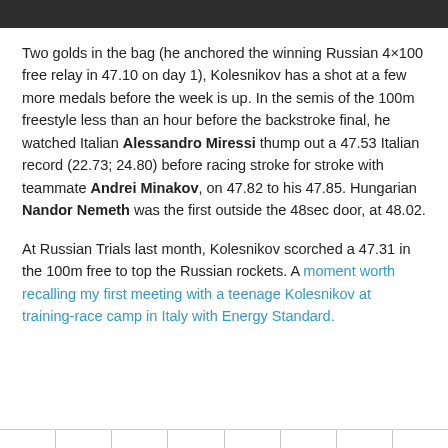Two golds in the bag (he anchored the winning Russian 4×100 free relay in 47.10 on day 1), Kolesnikov has a shot at a few more medals before the week is up. In the semis of the 100m freestyle less than an hour before the backstroke final, he watched Italian Alessandro Miressi thump out a 47.53 Italian record (22.73; 24.80) before racing stroke for stroke with teammate Andrei Minakov, on 47.82 to his 47.85. Hungarian Nandor Nemeth was the first outside the 48sec door, at 48.02.
At Russian Trials last month, Kolesnikov scorched a 47.31 in the 100m free to top the Russian rockets. A moment worth recalling my first meeting with a teenage Kolesnikov at training-race camp in Italy with Energy Standard.